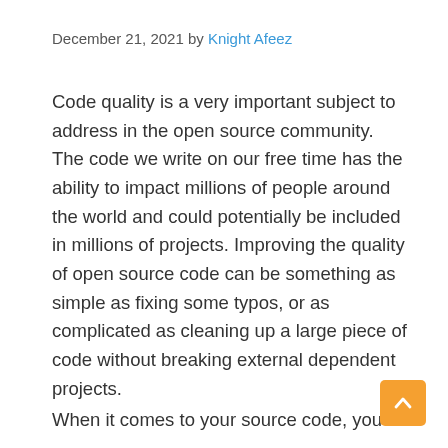December 21, 2021 by Knight Afeez
Code quality is a very important subject to address in the open source community. The code we write on our free time has the ability to impact millions of people around the world and could potentially be included in millions of projects. Improving the quality of open source code can be something as simple as fixing some typos, or as complicated as cleaning up a large piece of code without breaking external dependent projects.
When it comes to your source code, you